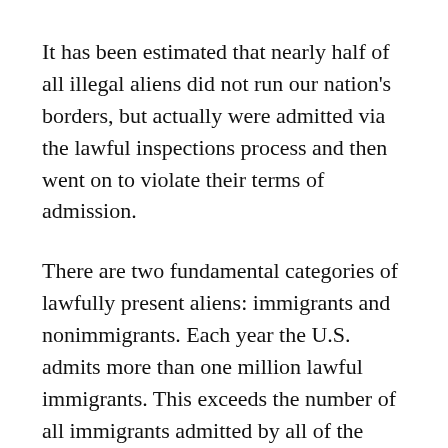It has been estimated that nearly half of all illegal aliens did not run our nation's borders, but actually were admitted via the lawful inspections process and then went on to violate their terms of admission.
There are two fundamental categories of lawfully present aliens: immigrants and nonimmigrants. Each year the U.S. admits more than one million lawful immigrants. This exceeds the number of all immigrants admitted by all of the other countries on the planet.
Each year tens of millions of non-immigrants are legally admitted into the U.S.